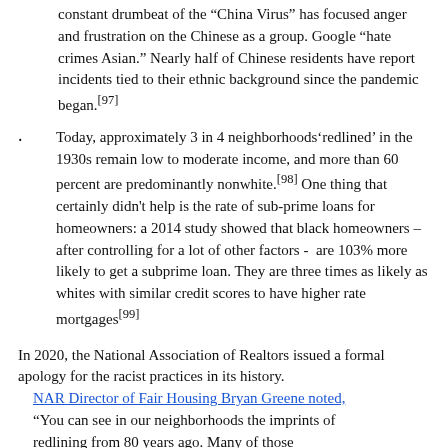constant drumbeat of the “China Virus” has focused anger and frustration on the Chinese as a group. Google “hate crimes Asian.” Nearly half of Chinese residents have report incidents tied to their ethnic background since the pandemic began.[97]
Today, approximately 3 in 4 neighborhoods‘redlined’ in the 1930s remain low to moderate income, and more than 60 percent are predominantly nonwhite.[98] One thing that certainly didn't help is the rate of sub-prime loans for homeowners: a 2014 study showed that black homeowners – after controlling for a lot of other factors -  are 103% more likely to get a subprime loan. They are three times as likely as whites with similar credit scores to have higher rate mortgages[99]
In 2020, the National Association of Realtors issued a formal apology for the racist practices in its history. NAR Director of Fair Housing Bryan Greene noted, "You can see in our neighborhoods the imprints of redlining from 80 years ago. Many of those...